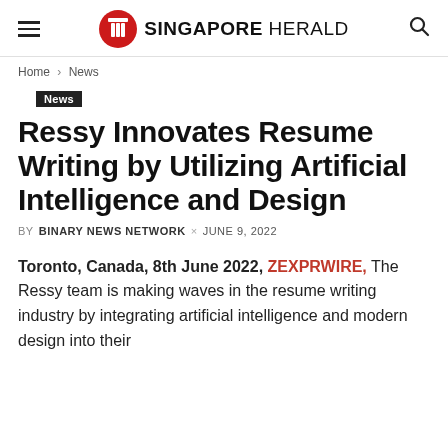SINGAPORE HERALD
Home › News
News
Ressy Innovates Resume Writing by Utilizing Artificial Intelligence and Design
BY BINARY NEWS NETWORK × JUNE 9, 2022
Toronto, Canada, 8th June 2022, ZEXPRWIRE, The Ressy team is making waves in the resume writing industry by integrating artificial intelligence and modern design into their